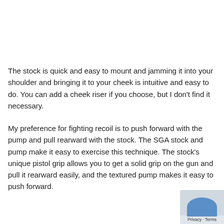The stock is quick and easy to mount and jamming it into your shoulder and bringing it to your cheek is intuitive and easy to do. You can add a cheek riser if you choose, but I don't find it necessary.
My preference for fighting recoil is to push forward with the pump and pull rearward with the stock. The SGA stock and pump make it easy to exercise this technique. The stock's unique pistol grip allows you to get a solid grip on the gun and pull it rearward easily, and the textured pump makes it easy to push forward.